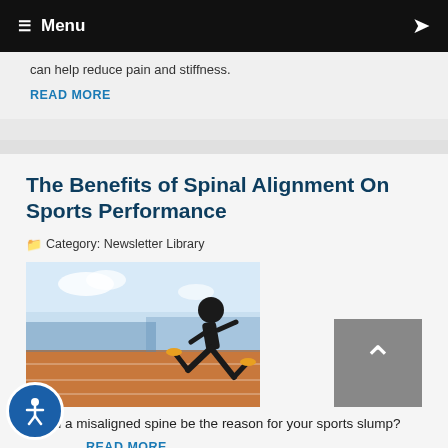≡ Menu
can help reduce pain and stiffness.
READ MORE
The Benefits of Spinal Alignment On Sports Performance
Category: Newsletter Library
[Figure (photo): Athlete sprinting on a running track in black athletic wear]
Could a misaligned spine be the reason for your sports slump?
READ MORE